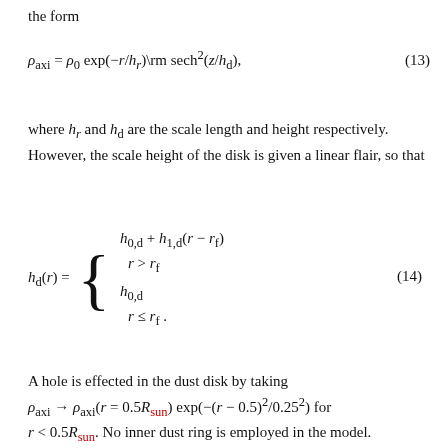the form
where h_r and h_d are the scale length and height respectively. However, the scale height of the disk is given a linear flair, so that
A hole is effected in the dust disk by taking ρ_axi → ρ_axi(r = 0.5R_sun) exp(−(r − 0.5)²/0.25²) for r < 0.5R_sun. No inner dust ring is employed in the model.